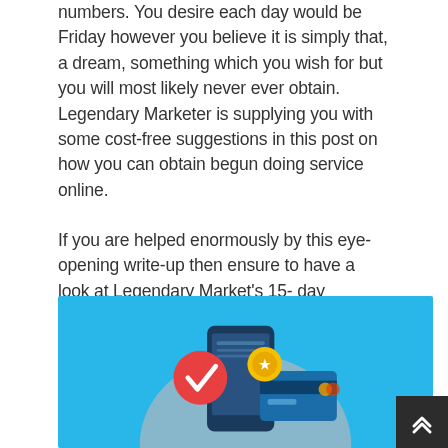numbers. You desire each day would be Friday however you believe it is simply that, a dream, something which you wish for but you will most likely never ever obtain. Legendary Marketer is supplying you with some cost-free suggestions in this post on how you can obtain begun doing service online.
If you are helped enormously by this eye-opening write-up then ensure to have a look at Legendary Market's 15- day company builder obstacle which will aid assist you right with the procedure of setting up affiliate marketing, focused all around you.
[Figure (illustration): Blue background illustration showing a smartphone with a red checkmark/tick icon, a credit card, and a coin/badge element — representing online/affiliate marketing concept]